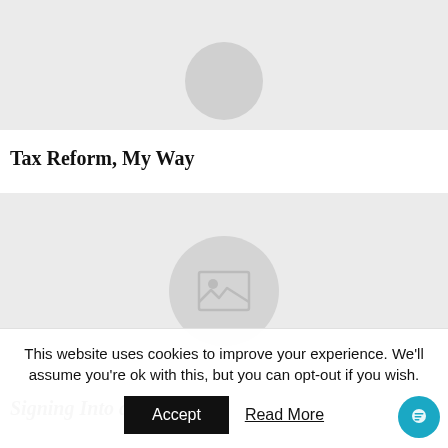[Figure (photo): Partial image placeholder with a circular avatar icon at the bottom center, light gray background]
Tax Reform, My Way
[Figure (photo): Image placeholder with a centered circular icon containing a landscape/photo icon, light gray background]
Signing Into a Tax Liens
This website uses cookies to improve your experience. We'll assume you're ok with this, but you can opt-out if you wish.
Accept
Read More